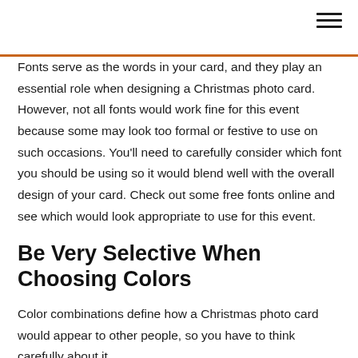Fonts serve as the words in your card, and they play an essential role when designing a Christmas photo card. However, not all fonts would work fine for this event because some may look too formal or festive to use on such occasions. You'll need to carefully consider which font you should be using so it would blend well with the overall design of your card. Check out some free fonts online and see which would look appropriate to use for this event.
Be Very Selective When Choosing Colors
Color combinations define how a Christmas photo card would appear to other people, so you have to think carefully about it